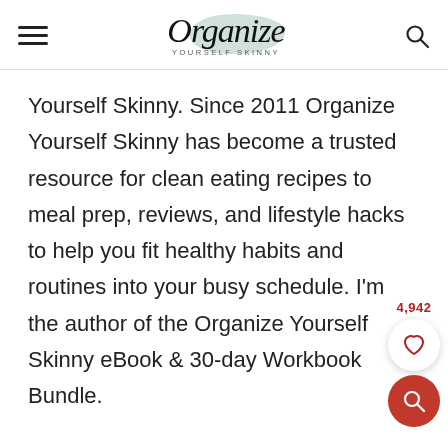Organize Yourself Skinny
Yourself Skinny. Since 2011 Organize Yourself Skinny has become a trusted resource for clean eating recipes to meal prep, reviews, and lifestyle hacks to help you fit healthy habits and routines into your busy schedule. I’m the author of the Organize Yourself Skinny eBook & 30-day Workbook Bundle.